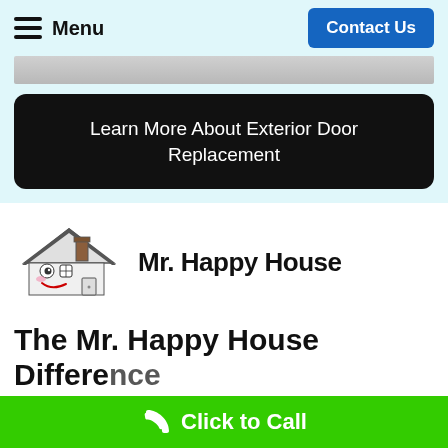Menu | Contact Us
[Figure (screenshot): Partial banner image strip at top of content area]
Learn More About Exterior Door Replacement
[Figure (logo): Mr. Happy House cartoon logo — smiling house with chimney]
Mr. Happy House
The Mr. Happy House Difference
Click to Call